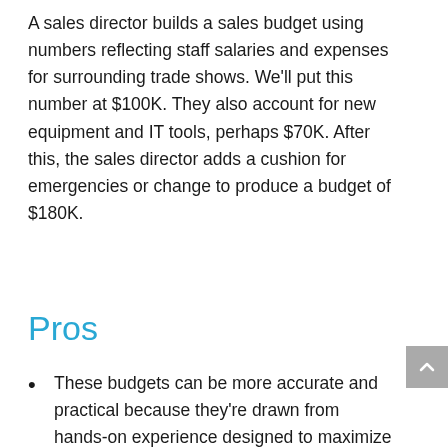A sales director builds a sales budget using numbers reflecting staff salaries and expenses for surrounding trade shows. We'll put this number at $100K. They also account for new equipment and IT tools, perhaps $70K. After this, the sales director adds a cushion for emergencies or change to produce a budget of $180K.
Pros
These budgets can be more accurate and practical because they're drawn from hands-on experience designed to maximize department efficiency.
Useful for creating tailored plans for using